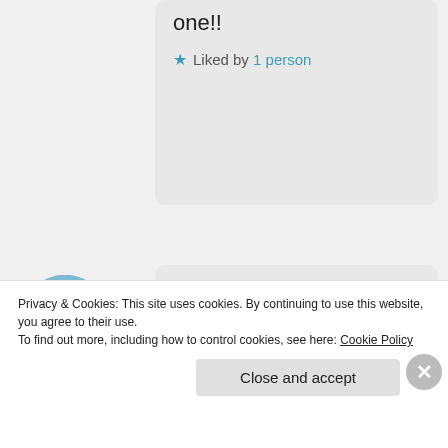one!!
★ Liked by 1 person
[Figure (photo): Circular avatar photo of a person in a field]
ccmercer1982
February 19, 2017 at 8:38 pm

That's great! I struggle to commit to a regular training slot/timetable but really like that with my club I can dip in and out of training
Privacy & Cookies: This site uses cookies. By continuing to use this website, you agree to their use.
To find out more, including how to control cookies, see here: Cookie Policy
Close and accept